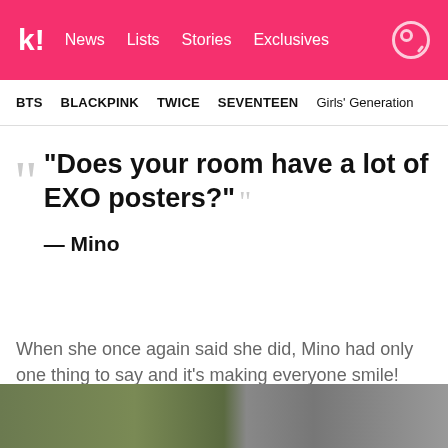k! | News  Lists  Stories  Exclusives
BTS  BLACKPINK  TWICE  SEVENTEEN  Girls' Generation
“Does your room have a lot of EXO posters?” — Mino
When she once again said she did, Mino had only one thing to say and it’s making everyone smile!
[Figure (photo): Bottom image strip showing partial scene]